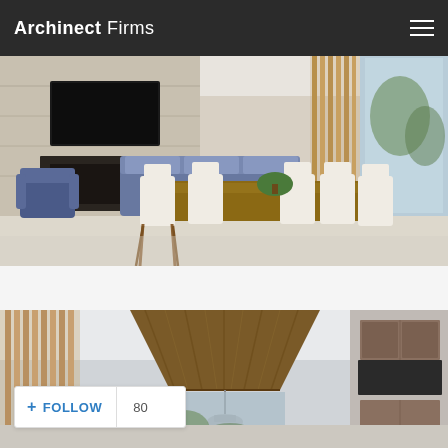Archinect Firms
[Figure (photo): Interior photo of a modern open-plan living and dining room with a large wooden dining table surrounded by cream upholstered chairs, blue sectional sofa, fireplace, and vertical wood slat partition wall]
[Figure (photo): Interior photo of a modern space showing a large geometric wood ceiling element/canopy, pendant light fixture, and kitchen cabinetry visible in background]
+ FOLLOW  80